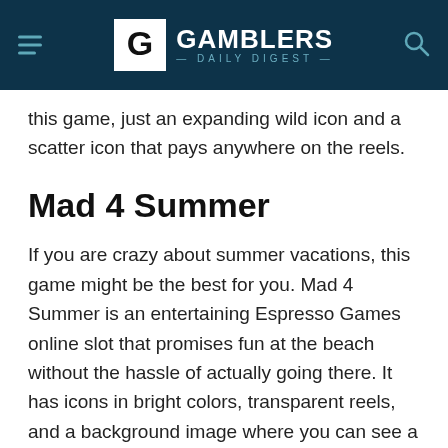GAMBLERS DAILY DIGEST
this game, just an expanding wild icon and a scatter icon that pays anywhere on the reels.
Mad 4 Summer
If you are crazy about summer vacations, this game might be the best for you. Mad 4 Summer is an entertaining Espresso Games online slot that promises fun at the beach without the hassle of actually going there. It has icons in bright colors, transparent reels, and a background image where you can see a beautiful girl in a swimsuit and the sea.
In other words, you can feel the magic of this period of the